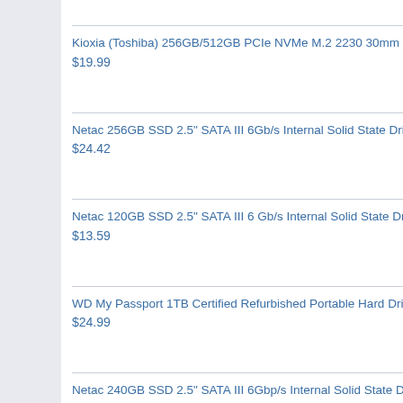Kioxia (Toshiba) 256GB/512GB PCIe NVMe M.2 2230 30mm SSD
$19.99
Netac 256GB SSD 2.5" SATA III 6Gb/s Internal Solid State Drive 500...
$24.42
Netac 120GB SSD 2.5" SATA III 6 Gb/s Internal Solid State Drive 500...
$13.59
WD My Passport 1TB Certified Refurbished Portable Hard Drive Bla...
$24.99
Netac 240GB SSD 2.5" SATA III 6Gbp/s Internal Solid State Drive 50...
$20.09